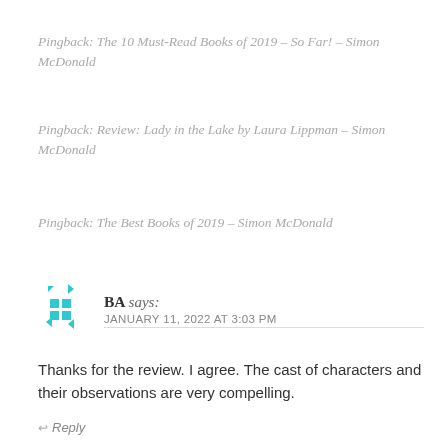Pingback: The 10 Must-Read Books of 2019 – So Far! – Simon McDonald
Pingback: Review: Lady in the Lake by Laura Lippman – Simon McDonald
Pingback: The Best Books of 2019 – Simon McDonald
BA says: JANUARY 11, 2022 AT 3:03 PM
Thanks for the review. I agree. The cast of characters and their observations are very compelling.
↩ Reply